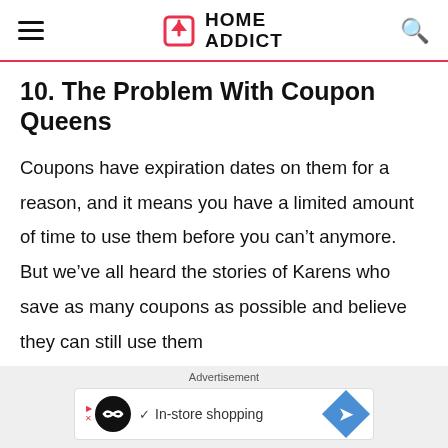HOME ADDICT
10. The Problem With Coupon Queens
Coupons have expiration dates on them for a reason, and it means you have a limited amount of time to use them before you can’t anymore. But we’ve all heard the stories of Karens who save as many coupons as possible and believe they can still use them
[Figure (infographic): Advertisement banner showing a looping arrows icon, checkmark with 'In-store shopping' text, and a blue diamond direction arrow icon]